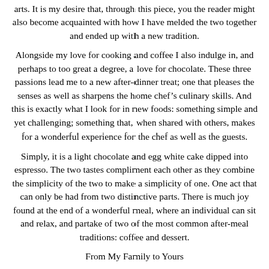arts. It is my desire that, through this piece, you the reader might also become acquainted with how I have melded the two together and ended up with a new tradition.
Alongside my love for cooking and coffee I also indulge in, and perhaps to too great a degree, a love for chocolate. These three passions lead me to a new after-dinner treat; one that pleases the senses as well as sharpens the home chef’s culinary skills. And this is exactly what I look for in new foods: something simple and yet challenging; something that, when shared with others, makes for a wonderful experience for the chef as well as the guests.
Simply, it is a light chocolate and egg white cake dipped into espresso. The two tastes compliment each other as they combine the simplicity of the two to make a simplicity of one. One act that can only be had from two distinctive parts. There is much joy found at the end of a wonderful meal, where an individual can sit and relax, and partake of two of the most common after-meal traditions: coffee and dessert.
From My Family to Yours
And like all traditions, it has the leeway to evolve into more, if you so desire. Traditions tend to have a greater significance when coupled with particular event. For my household, this new tradition